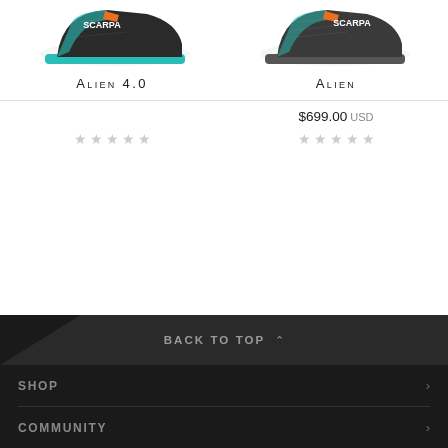[Figure (photo): Scarpa Alien 4.0 ski boot, side view, teal/orange/carbon colorway]
[Figure (photo): Scarpa Alien ski boot, side view, dark grey/orange/teal colorway]
ALIEN 4.0
ALIEN
$699.00 USD
★★★★★ (empty stars rating)
★★★★★ (empty stars rating)
BACK TO TOP
SHOP
COMMUNITY